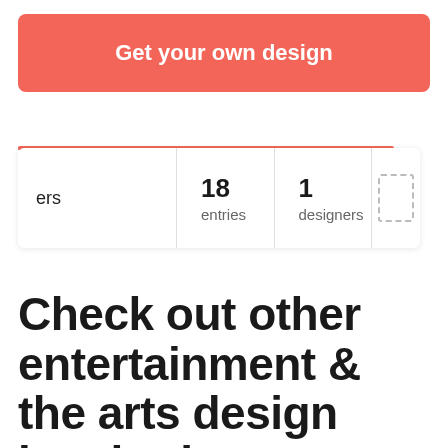[Figure (screenshot): Red CTA button labeled 'Get your own design']
18 entries
1 designers
Check out other entertainment & the arts design inspiration